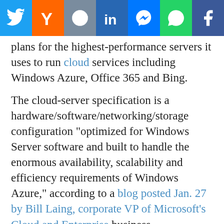[Figure (other): Social media share bar with Twitter, Y Combinator, Reddit, LinkedIn, Messenger, WhatsApp, and Facebook buttons]
plans for the highest-performance servers it uses to run cloud services including Windows Azure, Office 365 and Bing.
The cloud-server specification is a hardware/software/networking/storage configuration "optimized for Windows Server software and built to handle the enormous availability, scalability and efficiency requirements of Windows Azure," according to a blog posted Jan. 27 by Bill Laing, corporate VP of Microsoft's Cloud and Enterprise business.
Microsoft participates in most technical standards' development efforts, but is not known for publishing proprietary designs or system configurations. In this case